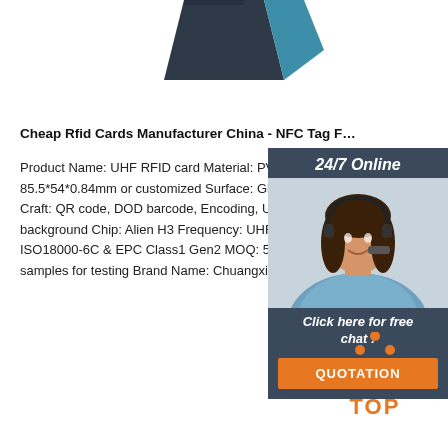[Figure (photo): Partial view of dark blue/teal RFID card product from top]
Cheap Rfid Cards Manufacturer China - NFC Tag F…
Product Name: UHF RFID card Material: PVC, PET 85.5*54*0.84mm or customized Surface: Glossy, Ma… Craft: QR code, DOD barcode, Encoding, UV, Silver background Chip: Alien H3 Frequency: UHF/860∹96… ISO18000-6C & EPC Class1 Gen2 MOQ: 500pcs S… samples for testing Brand Name: Chuangxinjia Plac…
[Figure (photo): Chat widget with woman wearing headset, 24/7 Online label, Click here for free chat text, and QUOTATION button]
Get Price
[Figure (logo): Orange TOP button icon with dots arranged in triangle above the word TOP]